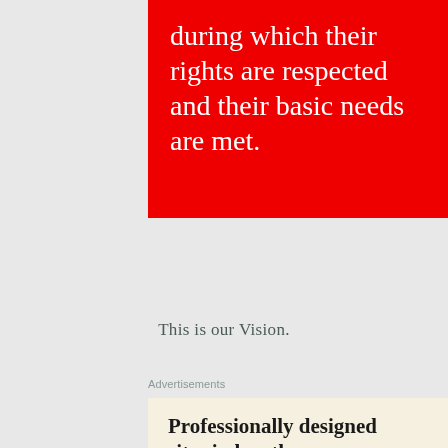during which their rights are respected and their basic needs are met.
This is our Vision.
Advertisements
[Figure (illustration): Advertisement banner with cream background showing text 'Professionally designed sites in less than a week', a dark green 'Explore options' button, and mockup images of websites on the right side.]